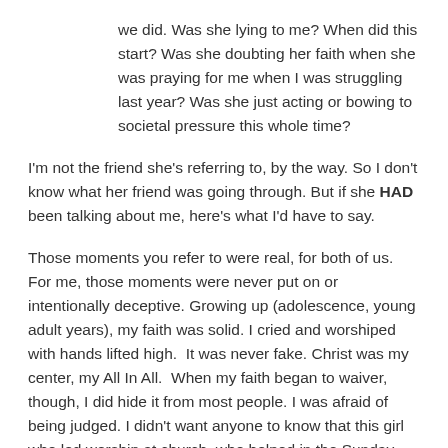we did. Was she lying to me? When did this start? Was she doubting her faith when she was praying for me when I was struggling last year? Was she just acting or bowing to societal pressure this whole time?
I'm not the friend she's referring to, by the way. So I don't know what her friend was going through. But if she HAD been talking about me, here's what I'd have to say.
Those moments you refer to were real, for both of us. For me, those moments were never put on or intentionally deceptive. Growing up (adolescence, young adult years), my faith was solid. I cried and worshiped with hands lifted high.  It was never fake. Christ was my center, my All In All.  When my faith began to waiver, though, I did hide it from most people. I was afraid of being judged. I didn't want anyone to know that this girl who led worship at church, who helped in the Sunday School, who facilitated the Prayer Wall, who had been on mission trips, was now starting to doubt. I didn't know if my doubts were just one of those aforementioned seasons or not, so to share them seemed premature. But I was ashamed. So at that point, I did keep it inside. But I wasn't acting. I